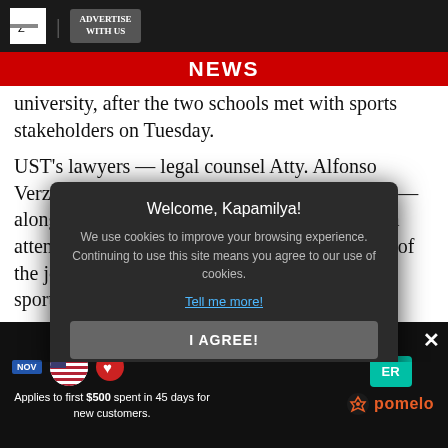ADVERTISE WITH US | NEWS
university, after the two schools met with sports stakeholders on Tuesday.
UST's lawyers — legal counsel Atty. Alfonso Verzosa and legal coordinator Atty. Elgin Perez — along with NU athletic director Otie Camangian attended a meeting requested by the signatories of the joint administration [modal overlay obscures text] uct of sports.
This includ[modal obscures] board, the Departme[modal obscures] orts Commissio[modal obscures] tives of
[Figure (screenshot): Cookie consent modal dialog with dark background reading 'Welcome, Kapamilya! We use cookies to improve your browsing experience. Continuing to use this site means you agree to our use of cookies. Tell me more! I AGREE!']
[Figure (screenshot): Advertisement banner at bottom with pomelo logo. Text reads: 'Applies to first $500 spent in 45 days for new customers.' with US flag icon and pomelo branding.]